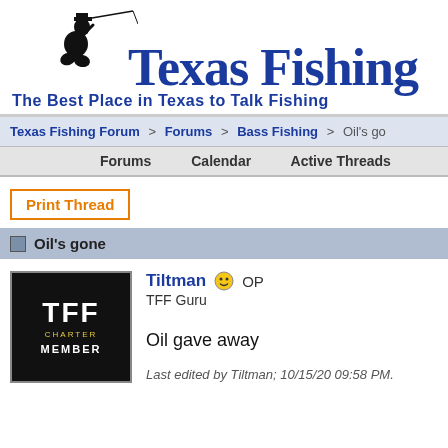[Figure (logo): Texas Fishing Forum logo with silhouette of fisherman and text 'Texas Fishing' in large blue serif font, tagline 'The Best Place in Texas to Talk Fishing']
Texas Fishing Forum > Forums > Bass Fishing > Oil's go
Forums   Calendar   Active Threads
Print Thread
Oil's gone
Tiltman OP
TFF Guru
Oil gave away
Last edited by Tiltman; 10/15/20 09:58 PM.